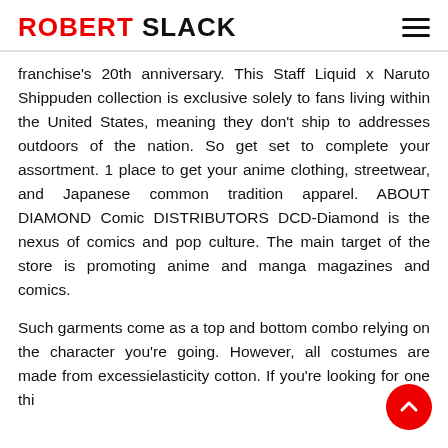ROBERT SLACK
franchise's 20th anniversary. This Staff Liquid x Naruto Shippuden collection is exclusive solely to fans living within the United States, meaning they don't ship to addresses outdoors of the nation. So get set to complete your assortment. 1 place to get your anime clothing, streetwear, and Japanese common tradition apparel. ABOUT DIAMOND Comic DISTRIBUTORS DCD-Diamond is the nexus of comics and pop culture. The main target of the store is promoting anime and manga magazines and comics.
Such garments come as a top and bottom combo relying on the character you're going. However, all costumes are made from excessi elasticity cotton. If you're looking for one thi